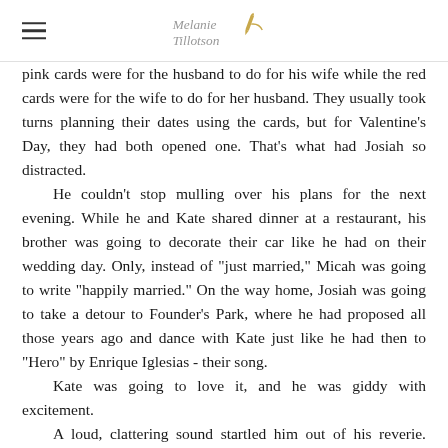Melanie Tillotson [logo with pen illustration]
pink cards were for the husband to do for his wife while the red cards were for the wife to do for her husband. They usually took turns planning their dates using the cards, but for Valentine's Day, they had both opened one. That's what had Josiah so distracted.
	He couldn't stop mulling over his plans for the next evening. While he and Kate shared dinner at a restaurant, his brother was going to decorate their car like he had on their wedding day. Only, instead of "just married," Micah was going to write "happily married." On the way home, Josiah was going to take a detour to Founder's Park, where he had proposed all those years ago and dance with Kate just like he had then to "Hero" by Enrique Iglesias - their song.
	Kate was going to love it, and he was giddy with excitement.
	A loud, clattering sound startled him out of his reverie. Helen squawked loudly and slammed the tray of